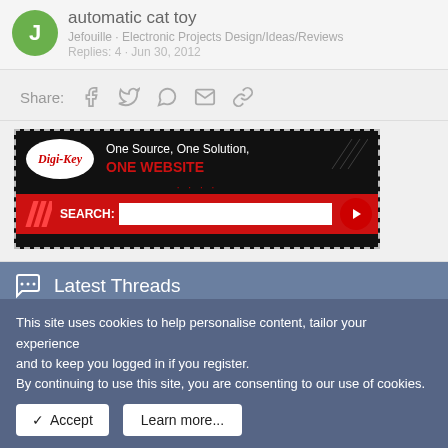automatic cat toy
Jefouille · Electronic Projects Design/Ideas/Reviews
Replies: 4 · Jun 30, 2012
Share:
[Figure (screenshot): Digi-Key Electronics advertisement banner: One Source, One Solution, ONE WEBSITE with search bar]
Latest Threads
what if any remote relay to turn off the engine to
This site uses cookies to help personalise content, tailor your experience and to keep you logged in if you register. By continuing to use this site, you are consenting to our use of cookies.